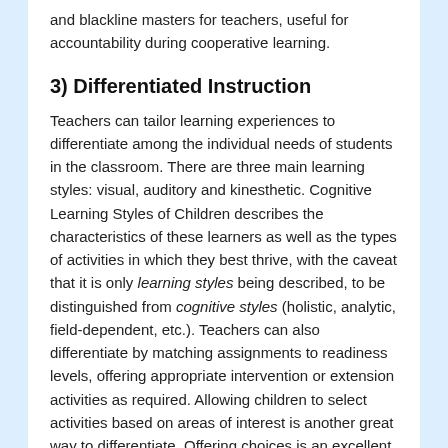and blackline masters for teachers, useful for accountability during cooperative learning.
3) Differentiated Instruction
Teachers can tailor learning experiences to differentiate among the individual needs of students in the classroom. There are three main learning styles: visual, auditory and kinesthetic. Cognitive Learning Styles of Children describes the characteristics of these learners as well as the types of activities in which they best thrive, with the caveat that it is only learning styles being described, to be distinguished from cognitive styles (holistic, analytic, field-dependent, etc.). Teachers can also differentiate by matching assignments to readiness levels, offering appropriate intervention or extension activities as required. Allowing children to select activities based on areas of interest is another great way to differentiate. Offering choices is an excellent motivator for kids. Small-